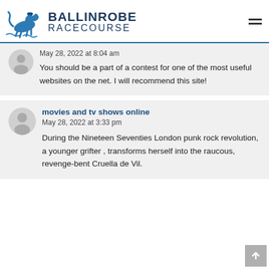BALLINROBE RACECOURSE
May 28, 2022 at 8:04 am
You should be a part of a contest for one of the most useful websites on the net. I will recommend this site!
movies and tv shows online
May 28, 2022 at 3:33 pm
During the Nineteen Seventies London punk rock revolution, a younger grifter , transforms herself into the raucous, revenge-bent Cruella de Vil.